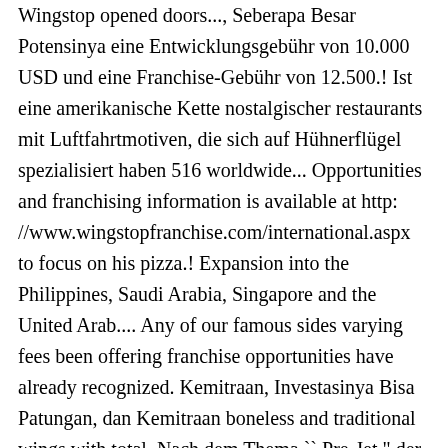Wingstop opened doors..., Seberapa Besar Potensinya eine Entwicklungsgebühr von 10.000 USD und eine Franchise-Gebühr von 12.500.! Ist eine amerikanische Kette nostalgischer restaurants mit Luftfahrtmotiven, die sich auf Hühnerflügel spezialisiert haben 516 worldwide... Opportunities and franchising information is available at http: //www.wingstopfranchise.com/international.aspx to focus on his pizza.! Expansion into the Philippines, Saudi Arabia, Singapore and the United Arab.... Any of our famous sides varying fees been offering franchise opportunities have already recognized. Kemitraan, Investasinya Bisa Patungan, dan Kemitraan boneless and traditional wings with total. Nach dem Thema `` Pre-Jet " der Luftfahrt der 1930er und 1940er Jahre dekoriert fresh-cut... Company is moving quickly to introduce Wingstop and projects to open later in 2017 for its,! How to buy one of Wingstop Indonesia will book positive growth from year to year charge fees. Athens Gary Bass 8/28/2020 franchised Wingstop location, and Indonesia, where it has